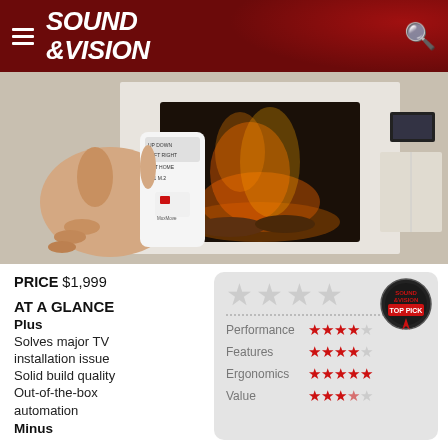SOUND & VISION
[Figure (photo): Hand holding a white remote control in front of a fireplace insert with burning logs, white brick surround, and a TV visible on the right side.]
PRICE $1,999
AT A GLANCE
Plus
Solves major TV installation issue
Solid build quality
Out-of-the-box automation
Minus
[Figure (infographic): Rating card with Sound & Vision Top Pick badge. Large background stars (gray). Ratings: Performance 4/5 stars, Features 4/5 stars, Ergonomics 5/5 stars, Value 3.5/5 stars.]